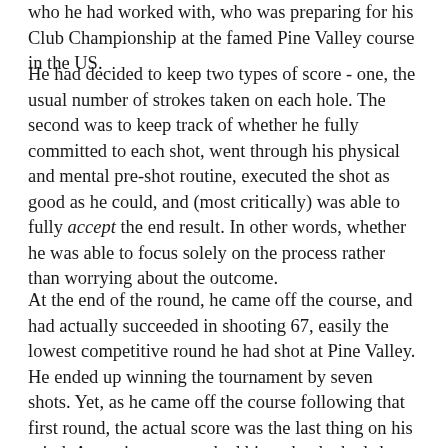who he had worked with, who was preparing for his Club Championship at the famed Pine Valley course in the US.
He had decided to keep two types of score - one, the usual number of strokes taken on each hole. The second was to keep track of whether he fully committed to each shot, went through his physical and mental pre-shot routine, executed the shot as good as he could, and (most critically) was able to fully accept the end result. In other words, whether he was able to focus solely on the process rather than worrying about the outcome.
At the end of the round, he came off the course, and had actually succeeded in shooting 67, easily the lowest competitive round he had shot at Pine Valley. He ended up winning the tournament by seven shots. Yet, as he came off the course following that first round, the actual score was the last thing on his mind. An assistant pro asked him what he had shot. "Eighty three percent" the golfer replied. He had calculated he had stuck to his routine on 56 of his